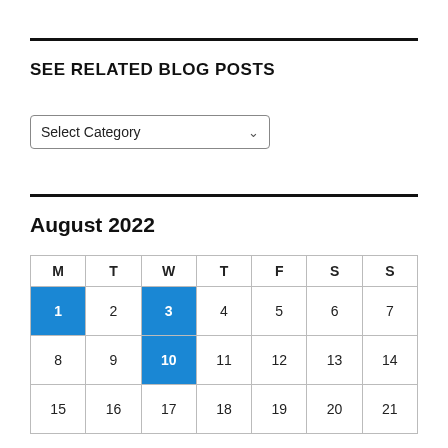SEE RELATED BLOG POSTS
[Figure (other): Dropdown select input with label 'Select Category' and chevron arrow]
August 2022
| M | T | W | T | F | S | S |
| --- | --- | --- | --- | --- | --- | --- |
| 1 | 2 | 3 | 4 | 5 | 6 | 7 |
| 8 | 9 | 10 | 11 | 12 | 13 | 14 |
| 15 | 16 | 17 | 18 | 19 | 20 | 21 |